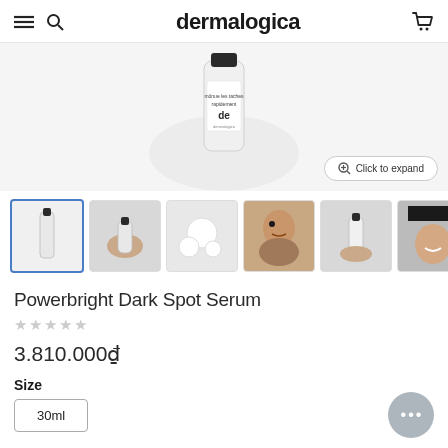dermalogica
[Figure (photo): Dermalogica Powerbright Dark Spot Serum product bottle, partially visible, large main product image with 'Click to expand' button overlay]
[Figure (photo): Row of 6 product thumbnail images: product bottle alone (active/selected with blue border), hands holding product, white circular pads, woman applying serum to face, hands holding tube, person smiling with product]
Powerbright Dark Spot Serum
☆☆☆☆☆
3.810.000₫
Size
30ml